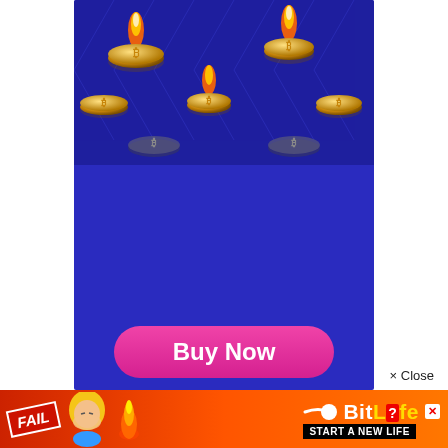[Figure (illustration): Advertisement for CoinSmart cryptocurrency exchange. Dark blue background with multiple gold Bitcoin coins, some with flames on top. Text reads 'Bitcoin is on FIRE' with 'FIRE' in yellow/gold italic. Subtext: 'Get $20 in BTC for trying CoinSmart today'. Pink/magenta 'Buy Now' button at bottom.]
Bitcoin is on FIRE
Get $20 in BTC for trying CoinSmart today
Buy Now
× Close
[Figure (illustration): Bottom banner advertisement for BitLife mobile game. Orange-red gradient background. Shows 'FAIL' badge, animated blonde character, flame icon, sperm mascot icon, BitLife logo in yellow, and tagline 'START A NEW LIFE'.]